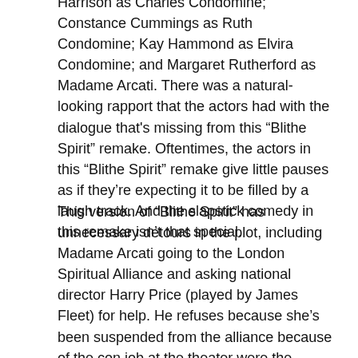Harrison as Charles Condomine; Constance Cummings as Ruth Condomine; Kay Hammond as Elvira Condomine; and Margaret Rutherford as Madame Arcati. There was a natural-looking rapport that the actors had with the dialogue that's missing from this “Blithe Spirit” remake. Oftentimes, the actors in this “Blithe Spirit” remake give little pauses as if they’re expecting it to be filled by a laugh track. And the slapstick comedy in this remake isn’t that special.
This version of “Blithe Spirit” has unnecessary detours in the plot, including Madame Arcati going to the London Spiritual Alliance and asking national director Harry Price (played by James Fleet) for help. He refuses because she’s been suspended from the alliance because of the con job at the theater were the audience demanded refunds. The Harry Price character is an example of a new character that ends up being irrelevant to this story.